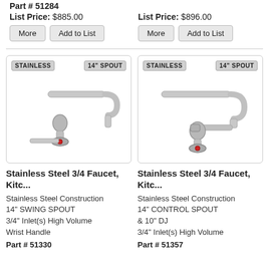Part # 51284
List Price: $885.00
More | Add to List
List Price: $896.00
More | Add to List
[Figure (photo): Stainless steel kitchen faucet with 14 inch swing spout, single handle, chrome finish, labels: STAINLESS and 14" SPOUT]
[Figure (photo): Stainless steel kitchen faucet with 14 inch control spout and 10 inch DJ, chrome finish, labels: STAINLESS and 14" SPOUT]
Stainless Steel 3/4 Faucet, Kitc...
Stainless Steel Construction
14" SWING SPOUT
3/4" Inlet(s) High Volume
Wrist Handle
Part # 51330
Stainless Steel 3/4 Faucet, Kitc...
Stainless Steel Construction
14" CONTROL SPOUT & 10" DJ
3/4" Inlet(s) High Volume
Part # 51357